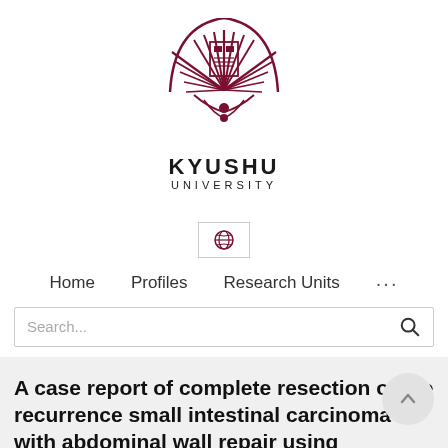[Figure (logo): Kyushu University logo — a stylized phoenix/fan emblem in dark red/maroon with wheat stalks and a castle/crest in the center, above the text KYUSHU UNIVERSITY]
Home   Profiles   Research Units   ...
Search...
A case report of complete resection of the recurrence small intestinal carcinoma with abdominal wall repair using